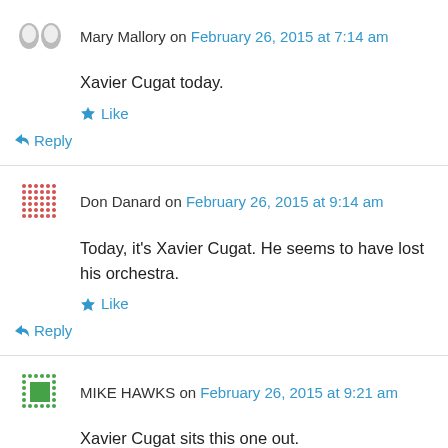Mary Mallory on February 26, 2015 at 7:14 am
Xavier Cugat today.
Like
Reply
Don Danard on February 26, 2015 at 9:14 am
Today, it's Xavier Cugat. He seems to have lost his orchestra.
Like
Reply
MIKE HAWKS on February 26, 2015 at 9:21 am
Xavier Cugat sits this one out.